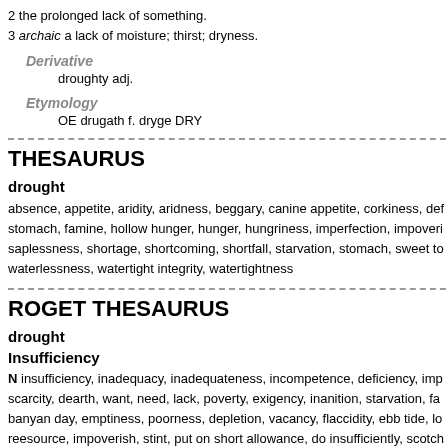2 the prolonged lack of something.
3 archaic a lack of moisture; thirst; dryness.
Derivative
droughty adj.
Etymology
OE drugath f. dryge DRY
THESAURUS
drought
absence, appetite, aridity, aridness, beggary, canine appetite, corkiness, def stomach, famine, hollow hunger, hunger, hungriness, imperfection, impoveri saplessness, shortage, shortcoming, shortfall, starvation, stomach, sweet to waterlessness, watertight integrity, watertightness
ROGET THESAURUS
drought
Insufficiency
N insufficiency, inadequacy, inadequateness, incompetence, deficiency, imp scarcity, dearth, want, need, lack, poverty, exigency, inanition, starvation, fa banyan day, emptiness, poorness, depletion, vacancy, flaccidity, ebb tide, lo reesource, impoverish, stint, put on short allowance, do insufficiently, scotch